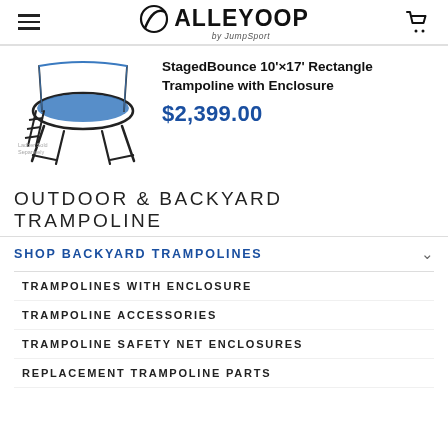AlleyOop by JumpSport — navigation header with hamburger menu and cart icon
[Figure (photo): Blue rectangle trampoline with black metal frame and ladder accessory. Small text reads 'Ladder Sold Separately'.]
StagedBounce 10'×17' Rectangle Trampoline with Enclosure
$2,399.00
OUTDOOR & BACKYARD TRAMPOLINE
SHOP BACKYARD TRAMPOLINES
TRAMPOLINES WITH ENCLOSURE
TRAMPOLINE ACCESSORIES
TRAMPOLINE SAFETY NET ENCLOSURES
REPLACEMENT TRAMPOLINE PARTS